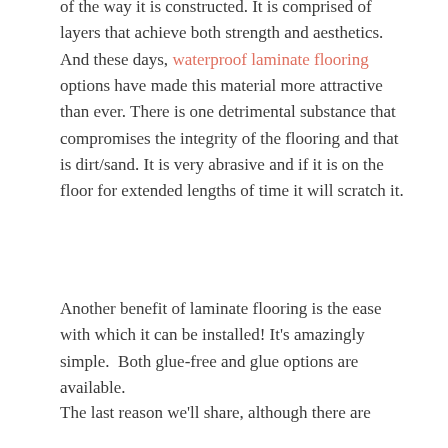of the way it is constructed. It is comprised of layers that achieve both strength and aesthetics. And these days, waterproof laminate flooring options have made this material more attractive than ever. There is one detrimental substance that compromises the integrity of the flooring and that is dirt/sand. It is very abrasive and if it is on the floor for extended lengths of time it will scratch it.
Another benefit of laminate flooring is the ease with which it can be installed! It's amazingly simple.  Both glue-free and glue options are available.
The last reason we'll share, although there are